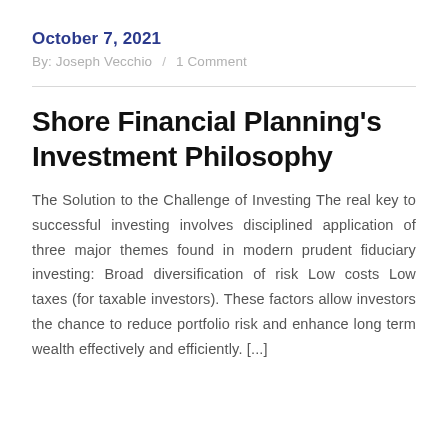October 7, 2021
By: Joseph Vecchio / 1 Comment
Shore Financial Planning's Investment Philosophy
The Solution to the Challenge of Investing The real key to successful investing involves disciplined application of three major themes found in modern prudent fiduciary investing: Broad diversification of risk Low costs Low taxes (for taxable investors). These factors allow investors the chance to reduce portfolio risk and enhance long term wealth effectively and efficiently. [...]